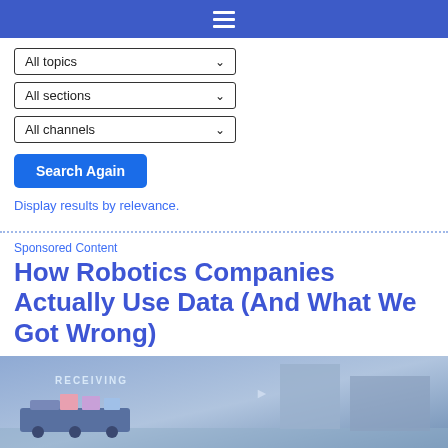≡
All topics
All sections
All channels
Search Again
Display results by relevance.
Sponsored Content
How Robotics Companies Actually Use Data (And What We Got Wrong)
[Figure (illustration): 3D rendered illustration of a robotics warehouse receiving area with a conveyor robot and boxes, labeled RECEIVING]